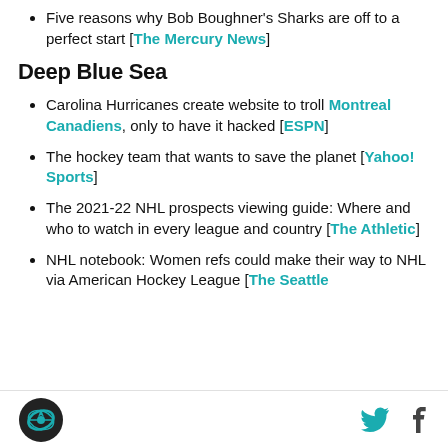Five reasons why Bob Boughner's Sharks are off to a perfect start [The Mercury News]
Deep Blue Sea
Carolina Hurricanes create website to troll Montreal Canadiens, only to have it hacked [ESPN]
The hockey team that wants to save the planet [Yahoo! Sports]
The 2021-22 NHL prospects viewing guide: Where and who to watch in every league and country [The Athletic]
NHL notebook: Women refs could make their way to NHL via American Hockey League [The Seattle
Logo | Twitter | Facebook